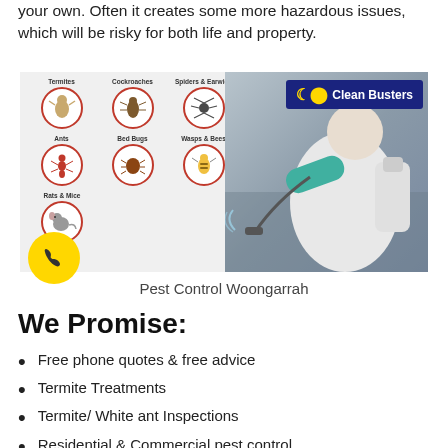your own. Often it creates some more hazardous issues, which will be risky for both life and property.
[Figure (photo): Pest control composite image: left panel shows a grid of pest types (Termites, Cockroaches, Spiders & Earwigs, Ants, Bed Bugs, Wasps & Bees, Rats & Mice) each in a red-bordered circle with labels; right panel shows a pest control technician in white suit and gloves using a spray pump, with a Clean Busters logo in the top right corner and a yellow phone button in the lower left.]
Pest Control Woongarrah
We Promise:
Free phone quotes & free advice
Termite Treatments
Termite/ White ant Inspections
Residential & Commercial pest control
Quality Work reasonably priced